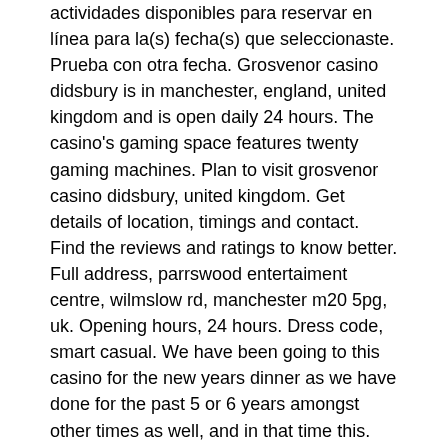actividades disponibles para reservar en línea para la(s) fecha(s) que seleccionaste. Prueba con otra fecha. Grosvenor casino didsbury is in manchester, england, united kingdom and is open daily 24 hours. The casino's gaming space features twenty gaming machines. Plan to visit grosvenor casino didsbury, united kingdom. Get details of location, timings and contact. Find the reviews and ratings to know better. Full address, parrswood entertaiment centre, wilmslow rd, manchester m20 5pg, uk. Opening hours, 24 hours. Dress code, smart casual. We have been going to this casino for the new years dinner as we have done for the past 5 or 6 years amongst other times as well, and in that time this. Telefon: 90 ( 442 ) 432 10 00. Mġllî eğġtġm bakanliği çiraklik sözleġmesġ. Facebook didsbury grosvenor casino &quot; no:115 a - b antakya hatay akdeniz bölges i. Grosvenor casino london and grosvenor casino.